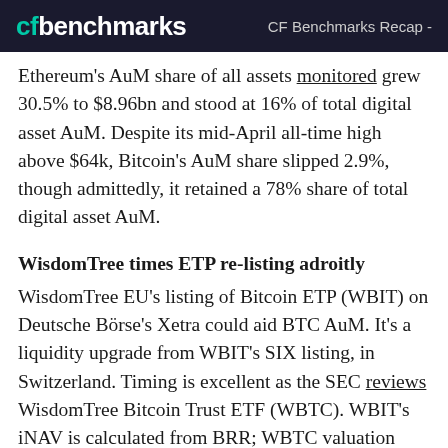cfbenchmarks — CF Benchmarks Recap -
Ethereum's AuM share of all assets monitored grew 30.5% to $8.96bn and stood at 16% of total digital asset AuM. Despite its mid-April all-time high above $64k, Bitcoin's AuM share slipped 2.9%, though admittedly, it retained a 78% share of total digital asset AuM.
WisdomTree times ETP re-listing adroitly
WisdomTree EU's listing of Bitcoin ETP (WBIT) on Deutsche Börse's Xetra could aid BTC AuM. It's a liquidity upgrade from WBIT's SIX listing, in Switzerland. Timing is excellent as the SEC reviews WisdomTree Bitcoin Trust ETF (WBTC). WBIT's iNAV is calculated from BRR; WBTC valuation would be based on sister index CF Bitcoin US Settlement